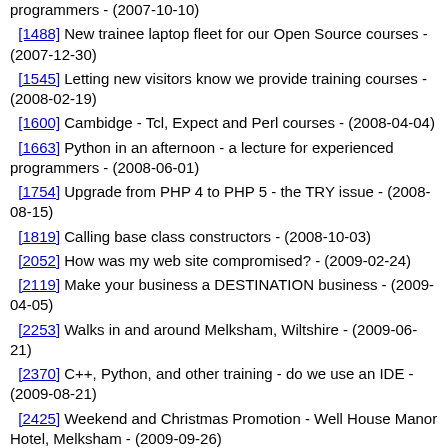programmers - (2007-10-10)
[1488] New trainee laptop fleet for our Open Source courses - (2007-12-30)
[1545] Letting new visitors know we provide training courses - (2008-02-19)
[1600] Cambidge - Tcl, Expect and Perl courses - (2008-04-04)
[1663] Python in an afternoon - a lecture for experienced programmers - (2008-06-01)
[1754] Upgrade from PHP 4 to PHP 5 - the TRY issue - (2008-08-15)
[1819] Calling base class constructors - (2008-10-03)
[2052] How was my web site compromised? - (2009-02-24)
[2119] Make your business a DESTINATION business - (2009-04-05)
[2253] Walks in and around Melksham, Wiltshire - (2009-06-21)
[2370] C++, Python, and other training - do we use an IDE - (2009-08-21)
[2425] Weekend and Christmas Promotion - Well House Manor Hotel, Melksham - (2009-09-26)
[2538] Open Source Training Centre and Courses for 2010 - (2009-12-16)
[2743] Public Open Source Training Courses running this summer and autumn in Melksham - (2010-04-27)
[3202] Telling you something about us in just one line - (2011-03-15)
G203 - Well House Consultants - Training course prices
[101] Good value, low cost, cheap. - (2004-10-27)